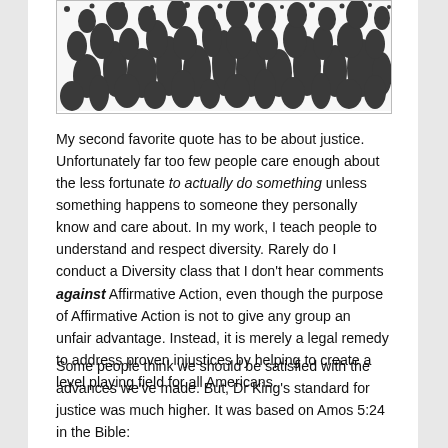[Figure (photo): Black and white photograph of a large crowd of people, densely packed, visible from above.]
My second favorite quote has to be about justice. Unfortunately far too few people care enough about the less fortunate to actually do something unless something happens to someone they personally know and care about.  In my work, I teach people to understand and respect diversity.  Rarely do I conduct a Diversity class that I don't hear comments against Affirmative Action, even though the purpose of Affirmative Action is not to give any group an unfair advantage.  Instead, it is merely a legal remedy to address proven injustices by helping to create a level playing field for all Americans.
Some people think we should be satisfied with the advances we've made.  But, Dr King's standard for justice was much higher.  It was based on Amos 5:24 in the Bible: